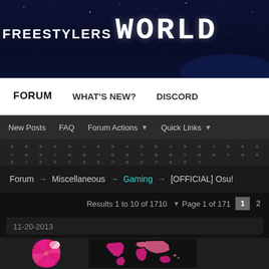freestylers WORLD
FORUM   WHAT'S NEW?   DISCORD
New Posts   FAQ   Forum Actions ▼   Quick Links ▼
Forum → Miscellaneous → Gaming → [OFFICIAL] Osu!
Results 1 to 10 of 1710   ▼ Page 1 of 171   1  2
11-20-2013
[Figure (photo): Pink umbrella/parasol from above with geometric pattern segments]
[Figure (map): World map with pink continents on black background]